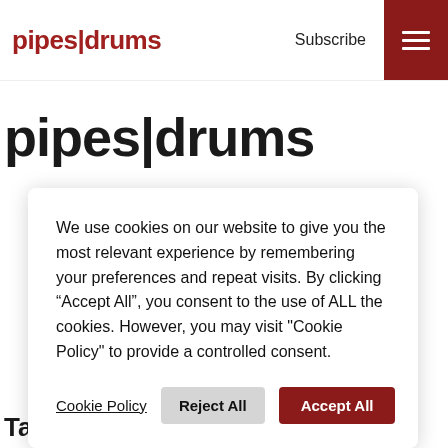pipes|drums  Subscribe
pipes|drums
We use cookies on our website to give you the most relevant experience by remembering your preferences and repeat visits. By clicking “Accept All”, you consent to the use of ALL the cookies. However, you may visit "Cookie Policy" to provide a controlled consent.
Cookie Policy  Reject All  Accept All